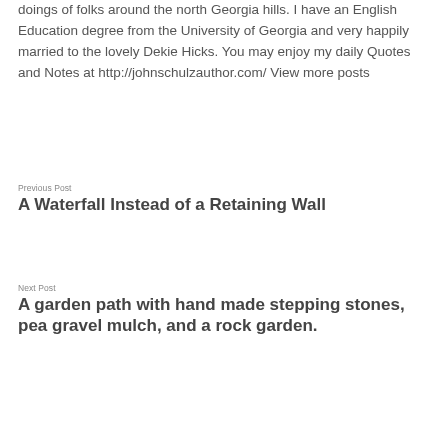doings of folks around the north Georgia hills. I have an English Education degree from the University of Georgia and very happily married to the lovely Dekie Hicks. You may enjoy my daily Quotes and Notes at http://johnschulzauthor.com/ View more posts
Previous Post
A Waterfall Instead of a Retaining Wall
Next Post
A garden path with hand made stepping stones, pea gravel mulch, and a rock garden.